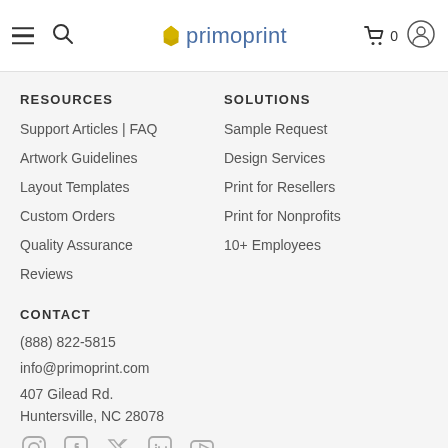primoprint navigation bar with hamburger menu, search, logo, cart (0), and user icon
RESOURCES
Support Articles | FAQ
Artwork Guidelines
Layout Templates
Custom Orders
Quality Assurance
Reviews
SOLUTIONS
Sample Request
Design Services
Print for Resellers
Print for Nonprofits
10+ Employees
CONTACT
(888) 822-5815
info@primoprint.com
407 Gilead Rd.
Huntersville, NC 28078